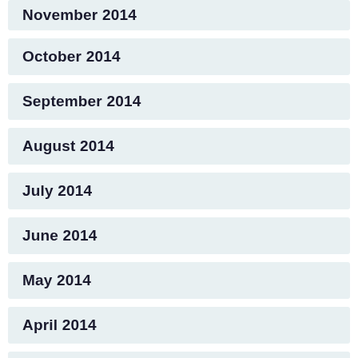November 2014
October 2014
September 2014
August 2014
July 2014
June 2014
May 2014
April 2014
March 2014